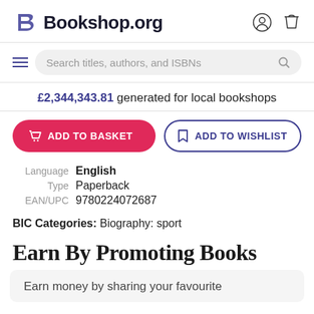Bookshop.org
Search titles, authors, and ISBNs
£2,344,343.81 generated for local bookshops
ADD TO BASKET
ADD TO WISHLIST
Language  English
Type  Paperback
EAN/UPC  9780224072687
BIC Categories: Biography: sport
Earn By Promoting Books
Earn money by sharing your favourite